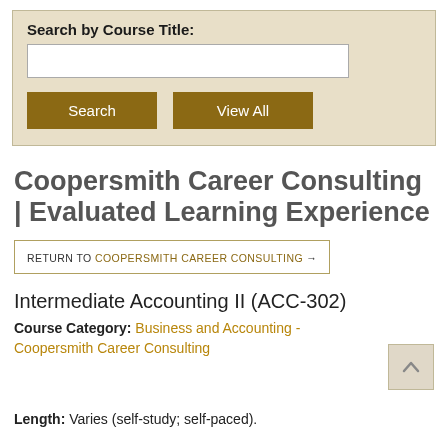Search by Course Title:
Search | View All
Coopersmith Career Consulting | Evaluated Learning Experience
RETURN TO COOPERSMITH CAREER CONSULTING →
Intermediate Accounting II (ACC-302)
Course Category: Business and Accounting - Coopersmith Career Consulting
Length: Varies (self-study; self-paced).